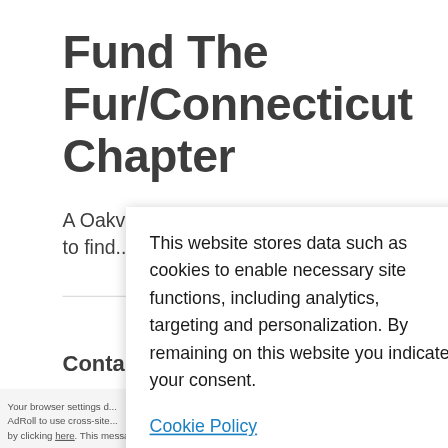Fund The Fur/Connecticut Chapter
A Oakville, CT 06770 rescue helping to find...
Conta...
Phon...
This website stores data such as cookies to enable necessary site functions, including analytics, targeting and personalization. By remaining on this website you indicate your consent.
Cookie Policy
Your browser settings d... AdRoll to use cross-site... by clicking here. This message only appears once.